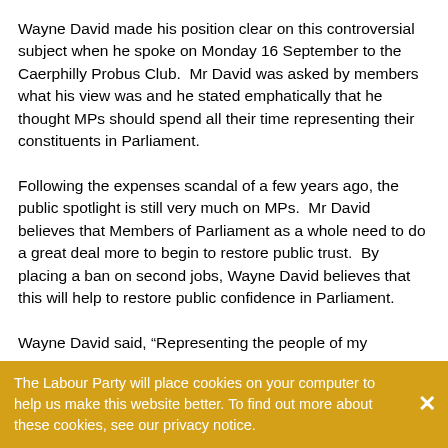Wayne David made his position clear on this controversial subject when he spoke on Monday 16 September to the Caerphilly Probus Club.  Mr David was asked by members what his view was and he stated emphatically that he thought MPs should spend all their time representing their constituents in Parliament.
Following the expenses scandal of a few years ago, the public spotlight is still very much on MPs.  Mr David believes that Members of Parliament as a whole need to do a great deal more to begin to restore public trust.  By placing a ban on second jobs, Wayne David believes that this will help to restore public confidence in Parliament.
Wayne David said, “Representing the people of my
The Labour Party will place cookies on your computer to help us make this website better. To find out more about these cookies, see our privacy notice.